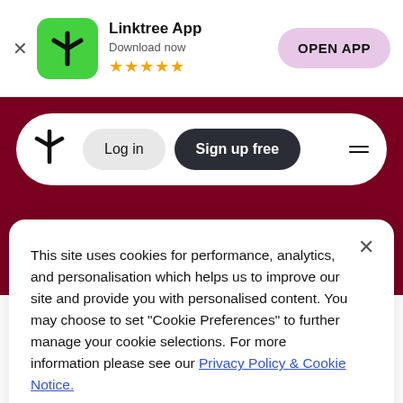[Figure (screenshot): Linktree app banner with green asterisk icon, app name, download text, 5 stars, and OPEN APP button]
[Figure (screenshot): Dark red background with white pill-shaped navigation bar containing Linktree asterisk logo, Log in button, Sign up free button, and hamburger menu]
This site uses cookies for performance, analytics, and personalisation which helps us to improve our site and provide you with personalised content. You may choose to set "Cookie Preferences" to further manage your cookie selections. For more information please see our Privacy Policy & Cookie Notice.
Cookie Preferences